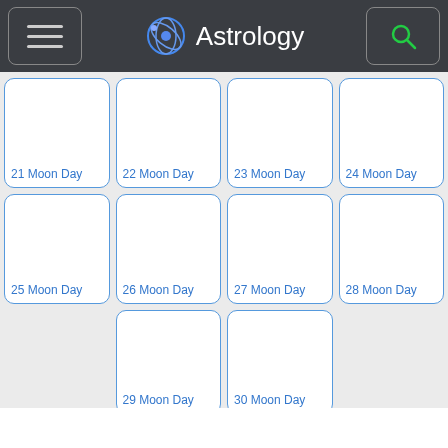Astrology
[Figure (illustration): Grid of moon day cards numbered 21 through 30, each shown as a white rounded rectangle with blue border and blue label text at the bottom left. Cards are arranged in rows of 4, 4, and 2 (with 2 empty spaces).]
21 Moon Day
22 Moon Day
23 Moon Day
24 Moon Day
25 Moon Day
26 Moon Day
27 Moon Day
28 Moon Day
29 Moon Day
30 Moon Day